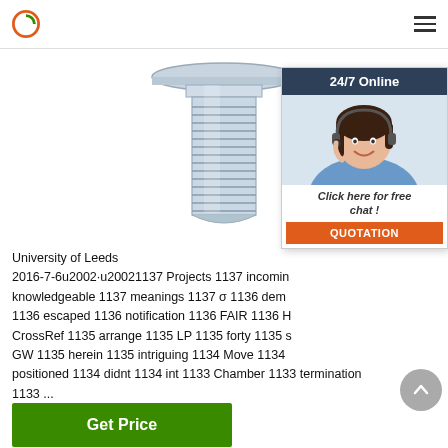Logo and navigation header
[Figure (photo): A threaded bolt/screw with a flat mushroom head, silver/zinc-plated, viewed from the side showing the threaded shaft.]
[Figure (illustration): 24/7 Online chat widget with a smiling female customer service agent wearing a headset, a 'Click here for free chat!' message, and a QUOTATION button in orange.]
University of Leeds 2016-7-6u2002·u20021137 Projects 1137 incoming knowledgeable 1137 meanings 1137 σ 1136 dem 1136 escaped 1136 notification 1136 FAIR 1136 H CrossRef 1135 arrange 1135 LP 1135 forty 1135 s GW 1135 herein 1135 intriguing 1134 Move 1134 positioned 1134 didnt 1134 int 1133 Chamber 1133 termination 1133 ...
[Figure (other): Scroll-to-top button, a gray circle with an upward-pointing chevron arrow.]
Get Price